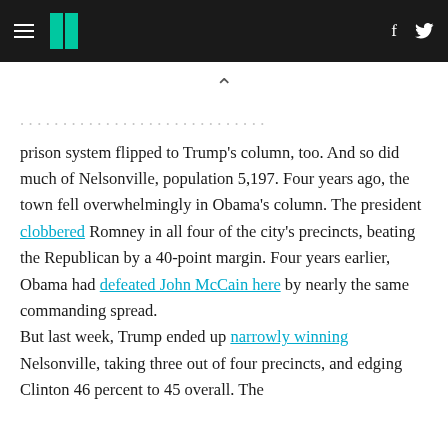HuffPost header with hamburger menu, logo, facebook and twitter icons
...prison system flipped to Trump's column, too. And so did much of Nelsonville, population 5,197. Four years ago, the town fell overwhelmingly in Obama's column. The president clobbered Romney in all four of the city's precincts, beating the Republican by a 40-point margin. Four years earlier, Obama had defeated John McCain here by nearly the same commanding spread.

But last week, Trump ended up narrowly winning Nelsonville, taking three out of four precincts, and edging Clinton 46 percent to 45 overall. The